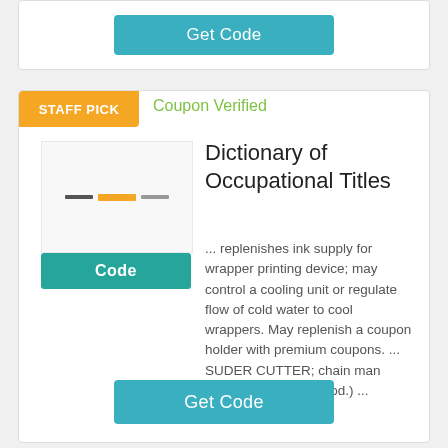Get Code
STAFF PICK
Coupon Verified
[Figure (illustration): Product thumbnail image with colored bars]
Code
Dictionary of Occupational Titles
... replenishes ink supply for wrapper printing device; may control a cooling unit or regulate flow of cold water to cool wrappers. May replenish a coupon holder with premium coupons. ... SUDER CUTTER; chain man (needle, pin, & rel. prod.) ...
Get Code